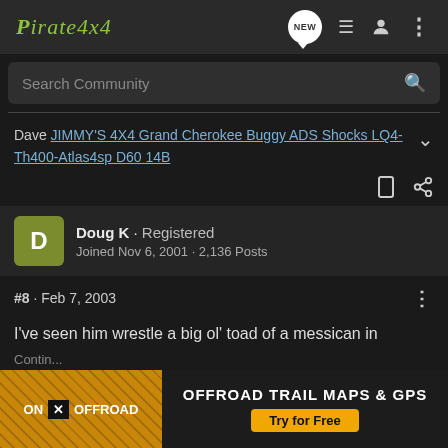Pirate4x4
Search Community
Dave JIMMY'S 4X4 Grand Cherokee Buggy ADS Shocks LQ4-Th400-Atlas4sp D60 14B
Doug K · Registered
Joined Nov 6, 2001 · 2,136 Posts
#8 · Feb 7, 2003
I've seen him wrestle a big ol' toad of a messican in Farmington... Tracy woulda kicked his ass if his friend hadn't jumped
[Figure (screenshot): ON X OFFROAD advertisement banner — OFFROAD TRAIL MAPS & GPS, Try for Free]